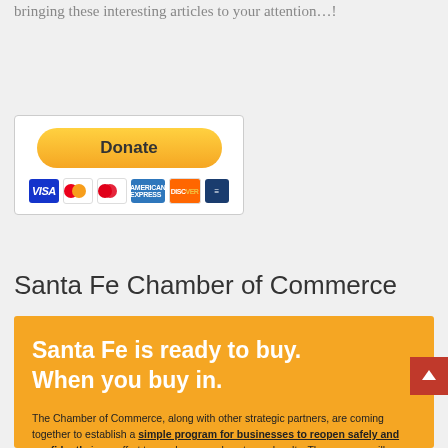bringing these interesting articles to your attention…!
[Figure (screenshot): PayPal Donate button with credit card logos (Visa, Mastercard, Maestro, American Express, Discover, and one other card)]
Santa Fe Chamber of Commerce
[Figure (infographic): Orange/yellow banner reading 'Santa Fe is ready to buy. When you buy in.' with body text: 'The Chamber of Commerce, along with other strategic partners, are coming together to establish a simple program for businesses to reopen safely and confidently in an effort to spark renewed customer loyalty. The program will outline everything you need']